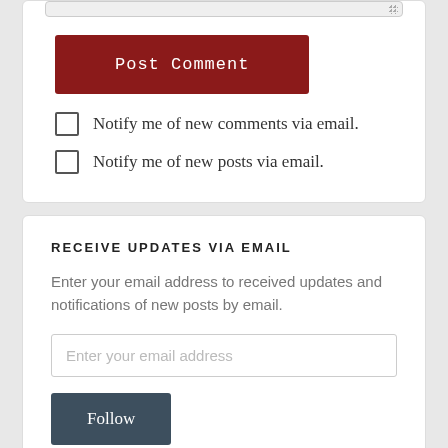[Figure (screenshot): Post Comment button (dark red background, white monospace text)]
Notify me of new comments via email.
Notify me of new posts via email.
RECEIVE UPDATES VIA EMAIL
Enter your email address to received updates and notifications of new posts by email.
[Figure (screenshot): Email input field with placeholder 'Enter your email address']
[Figure (screenshot): Follow button (dark slate background, white serif text)]